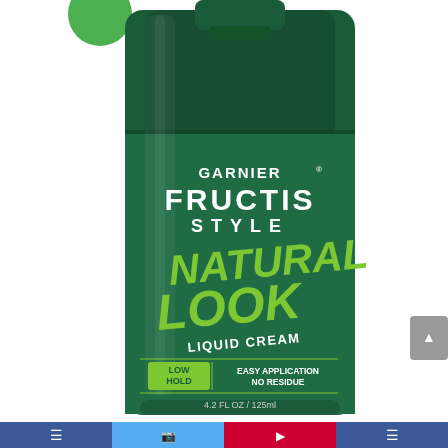[Figure (photo): Garnier Fructis Style Natural Look Liquid Cream product bottle. Dark green rectangular bottle with white text reading GARNIER FRUCTIS STYLE at the top, large bright green text reading NATURAL LOOK, white text LIQUID CREAM below, a green label badge reading LOW HOLD with EASY APPLICATION NO RESIDUE, and 4.2 FL OZ / 125ml at the bottom. A small green circular logo is partially visible at top left. A gray scroll-to-top button is on the right side. A social media navigation bar is at the bottom.]